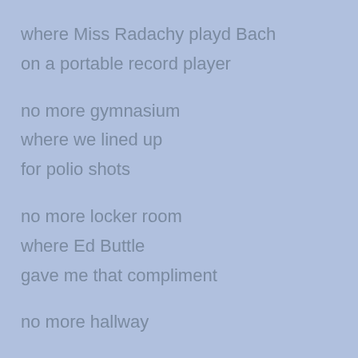where Miss Radachy playd Bach
on a portable record player
no more gymnasium
where we lined up
for polio shots
no more locker room
where Ed Buttle
gave me that compliment
no more hallway